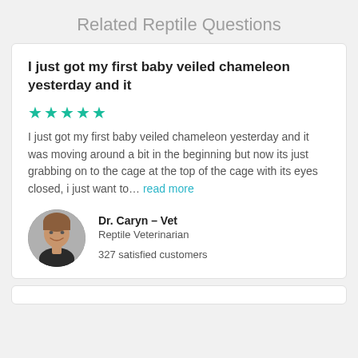Related Reptile Questions
I just got my first baby veiled chameleon yesterday and it
★★★★★
I just got my first baby veiled chameleon yesterday and it was moving around a bit in the beginning but now its just grabbing on to the cage at the top of the cage with its eyes closed, i just want to… read more
[Figure (photo): Circular avatar photo of Dr. Caryn, a female veterinarian smiling, wearing a dark jacket against a neutral background]
Dr. Caryn – Vet
Reptile Veterinarian
327 satisfied customers